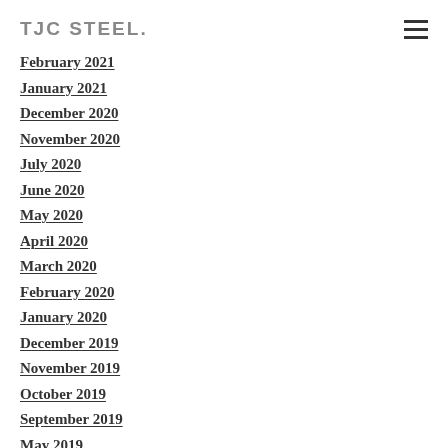TJC STEEL.
February 2021
January 2021
December 2020
November 2020
July 2020
June 2020
May 2020
April 2020
March 2020
February 2020
January 2020
December 2019
November 2019
October 2019
September 2019
May 2019